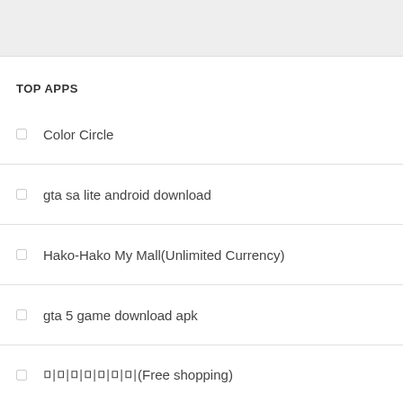TOP APPS
Color Circle
gta sa lite android download
Hako-Hako My Mall(Unlimited Currency)
gta 5 game download apk
미미미미미미미(Free shopping)
Critter Coast